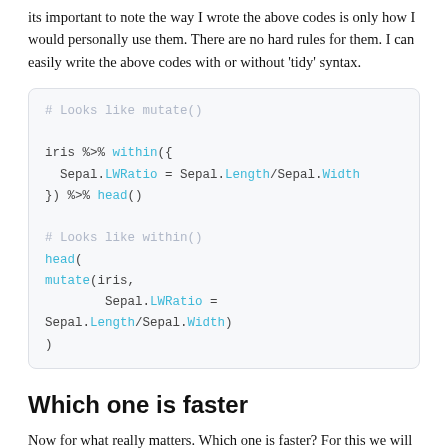Its important to note the way I wrote the above codes is only how I would personally use them. There are no hard rules for them. I can easily write the above codes with or without 'tidy' syntax.
[Figure (screenshot): Code block showing two R code examples: one using mutate() with pipe syntax and one using within() style. First block: iris %>% within({ Sepal.LWRatio = Sepal.Length/Sepal.Width }) %>% head(). Second block: head( mutate(iris, Sepal.LWRatio = Sepal.Length/Sepal.Width) )]
Which one is faster
Now for what really matters. Which one is faster? For this we will use the rbenchmark package. To make the game as even as possible I will not incorporate any pipes which may slow the code down.
[Figure (screenshot): Code block beginning with: library(rbenchmark)]